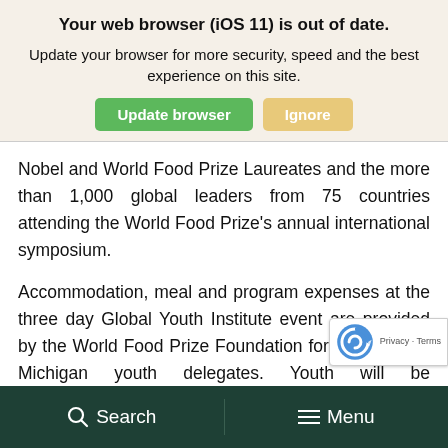Your web browser (iOS 11) is out of date.
Update your browser for more security, speed and the best experience on this site.
Nobel and World Food Prize Laureates and the more than 1,000 global leaders from 75 countries attending the World Food Prize's annual international symposium.
Accommodation, meal and program expenses at the three day Global Youth Institute event are provided by the World Food Prize Foundation for the selected Michigan youth delegates. Youth will be accompanied to Iowa for this prestigious leadership opportunity by WFPMIYI mentors. student and mentor participants must organize and
Search  Menu